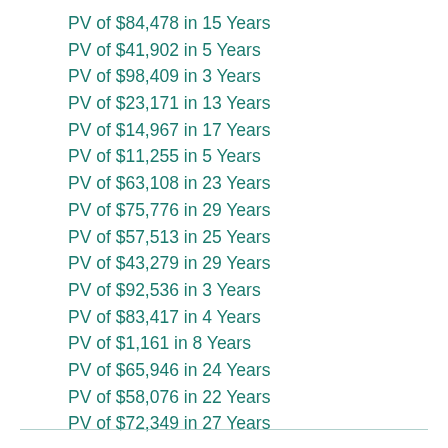PV of $84,478 in 15 Years
PV of $41,902 in 5 Years
PV of $98,409 in 3 Years
PV of $23,171 in 13 Years
PV of $14,967 in 17 Years
PV of $11,255 in 5 Years
PV of $63,108 in 23 Years
PV of $75,776 in 29 Years
PV of $57,513 in 25 Years
PV of $43,279 in 29 Years
PV of $92,536 in 3 Years
PV of $83,417 in 4 Years
PV of $1,161 in 8 Years
PV of $65,946 in 24 Years
PV of $58,076 in 22 Years
PV of $72,349 in 27 Years